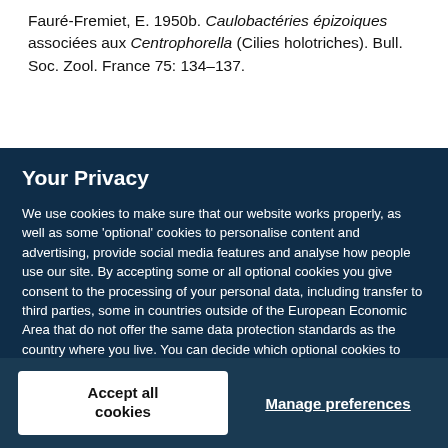Fauré-Fremiet, E. 1950b. Caulobactéries épizoiques associées aux Centrophorella (Cilies holotriches). Bull. Soc. Zool. France 75: 134–137.
Your Privacy
We use cookies to make sure that our website works properly, as well as some 'optional' cookies to personalise content and advertising, provide social media features and analyse how people use our site. By accepting some or all optional cookies you give consent to the processing of your personal data, including transfer to third parties, some in countries outside of the European Economic Area that do not offer the same data protection standards as the country where you live. You can decide which optional cookies to accept by clicking on 'Manage Settings', where you can also find more information about how your personal data is processed. Further information can be found in our privacy policy.
Accept all cookies
Manage preferences